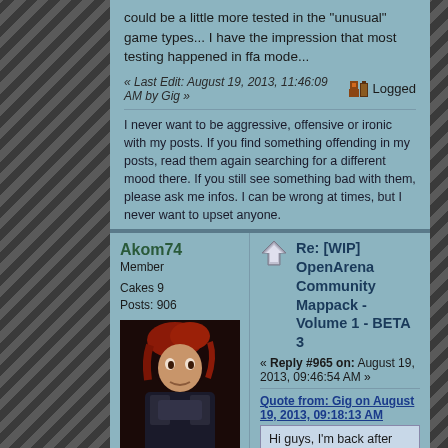could be a little more tested in the "unusual" game types... I have the impression that most testing happened in ffa mode...
« Last Edit: August 19, 2013, 11:46:09 AM by Gig »
Logged
I never want to be aggressive, offensive or ironic with my posts. If you find something offending in my posts, read them again searching for a different mood there. If you still see something bad with them, please ask me infos. I can be wrong at times, but I never want to upset anyone.
Akom74
Member
Cakes 9
Posts: 906
[Figure (photo): User avatar - dark themed character with red hair]
Q3A/OA Mapper
Re: [WIP] OpenArena Community Mappack - Volume 1 - BETA 3
« Reply #965 on: August 19, 2013, 09:46:54 AM »
Quote from: Gig on August 19, 2013, 09:18:13 AM
Hi guys, I'm back after some days of being completely offline. Sorry for holding back the RC a few more days.
Welcome back
Quote from: Gig on August 19, 2013, 09:18:13 AM
- Akom said he would have tried to do some changes himself... any news about that?
No way for now
i'm working on OA_Cargo...